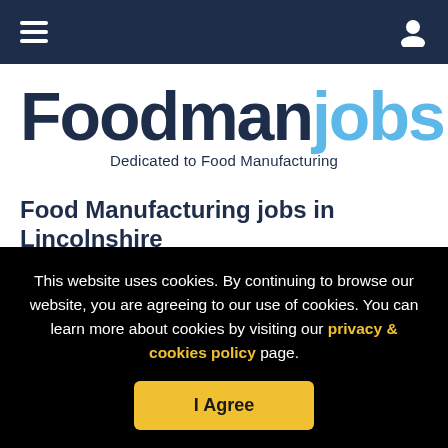Foodmanjobs navigation bar with hamburger menu and user icon
[Figure (logo): Foodmanjobs logo — 'Foodman' in dark navy bold, 'jobs' in light blue bold, tagline 'Dedicated to Food Manufacturing' below]
Food Manufacturing jobs in Lincolnshire
[Figure (screenshot): Search filter bar with 'Refine results' button and a dropdown arrow button]
This website uses cookies. By continuing to browse our website, you are agreeing to our use of cookies. You can learn more about cookies by visiting our privacy & cookies policy page.
I Agree